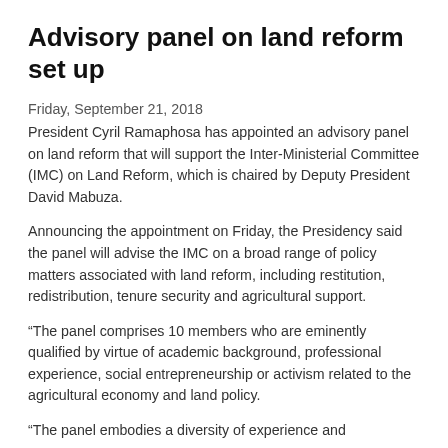Advisory panel on land reform set up
Friday, September 21, 2018
President Cyril Ramaphosa has appointed an advisory panel on land reform that will support the Inter-Ministerial Committee (IMC) on Land Reform, which is chaired by Deputy President David Mabuza.
Announcing the appointment on Friday, the Presidency said the panel will advise the IMC on a broad range of policy matters associated with land reform, including restitution, redistribution, tenure security and agricultural support.
“The panel comprises 10 members who are eminently qualified by virtue of academic background, professional experience, social entrepreneurship or activism related to the agricultural economy and land policy.
“The panel embodies a diversity of experience and